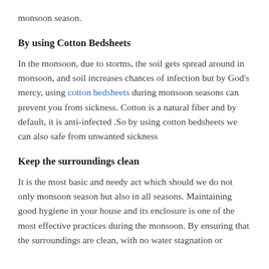monsoon season.
By using Cotton Bedsheets
In the monsoon, due to storms, the soil gets spread around in monsoon, and soil increases chances of infection but by God’s mercy, using cotton bedsheets during monsoon seasons can prevent you from sickness. Cotton is a natural fiber and by default, it is anti-infected .So by using cotton bedsheets we can also safe from unwanted sickness
Keep the surroundings clean
It is the most basic and needy act which should we do not only monsoon season but also in all seasons. Maintaining good hygiene in your house and its enclosure is one of the most effective practices during the monsoon. By ensuring that the surroundings are clean, with no water stagnation or